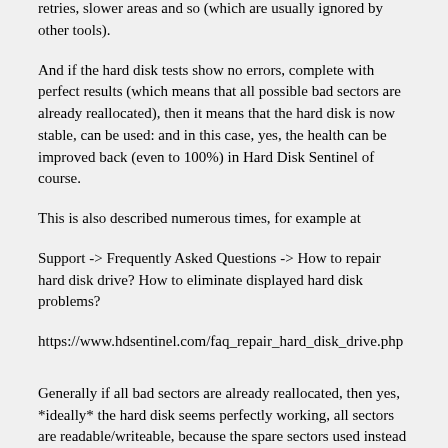retries, slower areas and so (which are usually ignored by other tools).
And if the hard disk tests show no errors, complete with perfect results (which means that all possible bad sectors are already reallocated), then it means that the hard disk is now stable, can be used: and in this case, yes, the health can be improved back (even to 100%) in Hard Disk Sentinel of course.
This is also described numerous times, for example at
Support -> Frequently Asked Questions -> How to repair hard disk drive? How to eliminate displayed hard disk problems?
https://www.hdsentinel.com/faq_repair_hard_disk_drive.php
Generally if all bad sectors are already reallocated, then yes, *ideally* the hard disk seems perfectly working, all sectors are readable/writeable, because the spare sectors used instead of the original bad sectors. This is why other test methods/tools can show "perfect" and even the disk tests in Hard Disk Sentinel should show that all sectors are readable/writeable. This is why some (small amount) of bad sectors are even acceptable, as described in the Help and and at https://www.hdsentinel.com/faq.php#health
But it does NOT mean that the hard disk was perfect. It had problems which are already fixed and the status is now stable. However, we can't